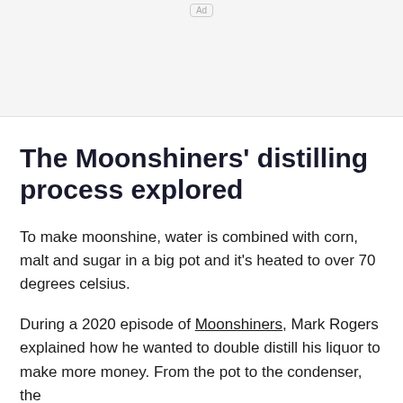[Figure (other): Ad banner placeholder area with 'Ad' label button at top center]
The Moonshiners' distilling process explored
To make moonshine, water is combined with corn, malt and sugar in a big pot and it's heated to over 70 degrees celsius.
During a 2020 episode of Moonshiners, Mark Rogers explained how he wanted to double distill his liquor to make more money. From the pot to the condenser, the